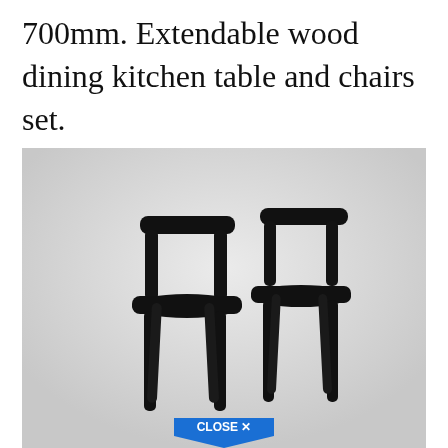700mm. Extendable wood dining kitchen table and chairs set.
[Figure (photo): Two black wooden dining chairs with curved backrests and round seats on a light grey background. A blue 'CLOSE X' button overlay is visible at the bottom center of the image.]